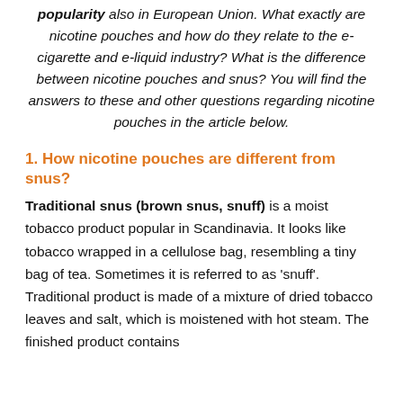popularity also in European Union. What exactly are nicotine pouches and how do they relate to the e-cigarette and e-liquid industry? What is the difference between nicotine pouches and snus? You will find the answers to these and other questions regarding nicotine pouches in the article below.
1. How nicotine pouches are different from snus?
Traditional snus (brown snus, snuff) is a moist tobacco product popular in Scandinavia. It looks like tobacco wrapped in a cellulose bag, resembling a tiny bag of tea. Sometimes it is referred to as 'snuff'. Traditional product is made of a mixture of dried tobacco leaves and salt, which is moistened with hot steam. The finished product contains